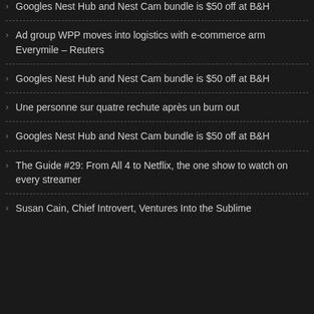Googles Nest Hub and Nest Cam bundle is $50 off at B&H
Ad group WPP moves into logistics with e-commerce arm Everymile – Reuters
Googles Nest Hub and Nest Cam bundle is $50 off at B&H
Une personne sur quatre rechute après un burn out
Googles Nest Hub and Nest Cam bundle is $50 off at B&H
The Guide #29: From All 4 to Netflix, the one show to watch on every streamer
Susan Cain, Chief Introvert, Ventures Into the Sublime